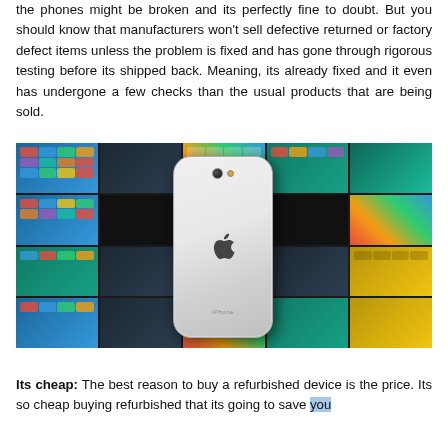the phones might be broken and its perfectly fine to doubt. But you should know that manufacturers won't sell defective returned or factory defect items unless the problem is fixed and has gone through rigorous testing before its shipped back. Meaning, its already fixed and it even has undergone a few checks than the usual products that are being sold.
[Figure (photo): An iPhone X (white/silver) shown from the back, floating above a collection of various iPhones and iPads displaying colorful home screens with app icons.]
Its cheap: The best reason to buy a refurbished device is the price. Its so cheap buying refurbished that its going to save you